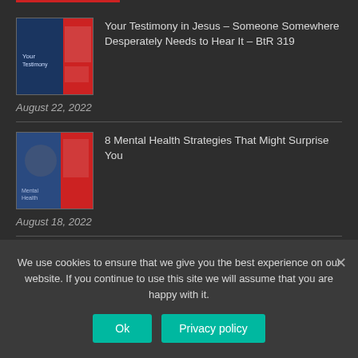Your Testimony in Jesus – Someone Somewhere Desperately Needs to Hear It – BtR 319
August 22, 2022
8 Mental Health Strategies That Might Surprise You
August 18, 2022
Achieving Your Best Life After Catastrophe with Jolyn Armstrong – BtR 318
August 15, 2022
We use cookies to ensure that we give you the best experience on our website. If you continue to use this site we will assume that you are happy with it.